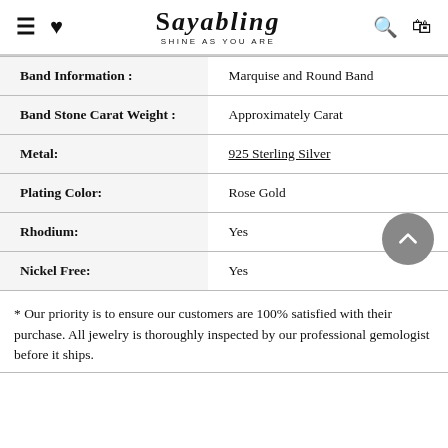SAYABLING SHINE AS YOU ARE
| Attribute | Value |
| --- | --- |
| Band Information : | Marquise and Round Band |
| Band Stone Carat Weight : | Approximately Carat |
| Metal: | 925 Sterling Silver |
| Plating Color: | Rose Gold |
| Rhodium: | Yes |
| Nickel Free: | Yes |
* Our priority is to ensure our customers are 100% satisfied with their purchase. All jewelry is thoroughly inspected by our professional gemologist before it ships.